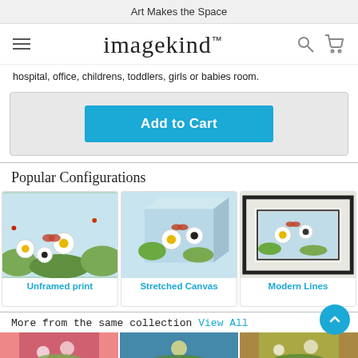Art Makes the Space
[Figure (logo): Imagekind logo with hamburger menu, search and cart icons]
hospital, office, childrens, toddlers, girls or babies room.
Add to Cart
Popular Configurations
[Figure (photo): Unframed print of flower meadow painting with butterflies and bugs]
Unframed print
[Figure (photo): Stretched Canvas of flower meadow painting]
Stretched Canvas
[Figure (photo): Modern Lines framed print of flower meadow painting]
Modern Lines
More from the same collection
View All
[Figure (photo): Bottom thumbnail artworks from same collection]